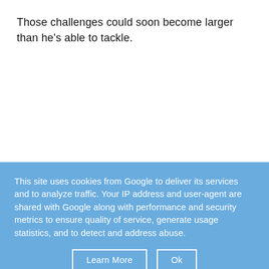Those challenges could soon become larger than he's able to tackle.
This site uses cookies from Google to deliver its services and to analyze traffic. Your IP address and user-agent are shared with Google along with performance and security metrics to ensure quality of service, generate usage statistics, and to detect and address abuse.